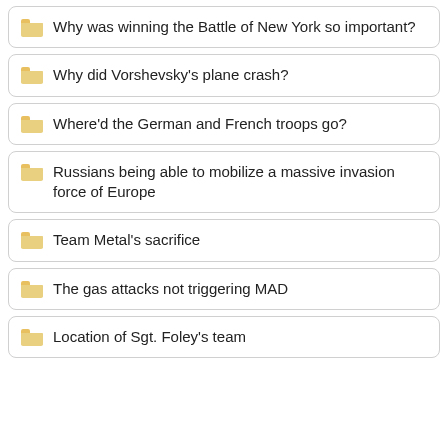Why was winning the Battle of New York so important?
Why did Vorshevsky's plane crash?
Where'd the German and French troops go?
Russians being able to mobilize a massive invasion force of Europe
Team Metal's sacrifice
The gas attacks not triggering MAD
Location of Sgt. Foley's team